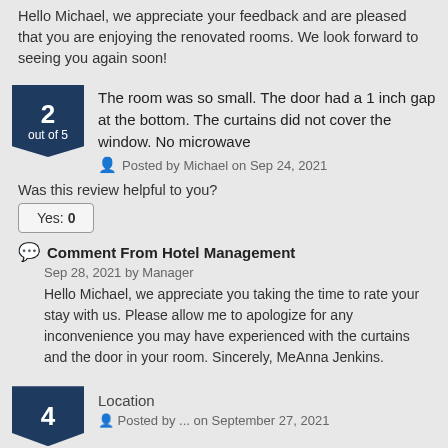Hello Michael, we appreciate your feedback and are pleased that you are enjoying the renovated rooms. We look forward to seeing you again soon!
The room was so small. The door had a 1 inch gap at the bottom. The curtains did not cover the window. No microwave
Posted by Michael on Sep 24, 2021
Was this review helpful to you?
Yes: 0
Comment From Hotel Management
Sep 28, 2021 by Manager
Hello Michael, we appreciate you taking the time to rate your stay with us. Please allow me to apologize for any inconvenience you may have experienced with the curtains and the door in your room. Sincerely, MeAnna Jenkins.
Location
Posted by ...